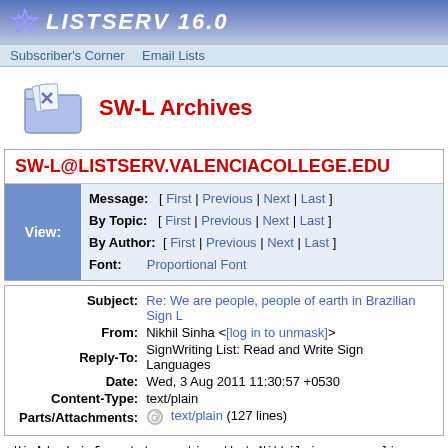LISTSERV 16.0
Subscriber's Corner   Email Lists
SW-L Archives
SW-L@LISTSERV.VALENCIACOLLEGE.EDU
| View: | Field | Navigation |
| --- | --- | --- |
| Message: | [ First | Previous | Next | Last ] |
| By Topic: | [ First | Previous | Next | Last ] |
| By Author: | [ First | Previous | Next | Last ] |
| Font: | Proportional Font |
| Field | Value |
| --- | --- |
| Subject: | Re: We are people, people of earth in Brazilian Sign L... |
| From: | Nikhil Sinha <[log in to unmask]> |
| Reply-To: | SignWriting List: Read and Write Sign Languages |
| Date: | Wed, 3 Aug 2011 11:30:57 +0530 |
| Content-Type: | text/plain |
| Parts/Attachments: | text/plain (127 lines) |
Hi Adam! i forgot to mention that Nikhil is a masculine names follow more or less the same pattern as European